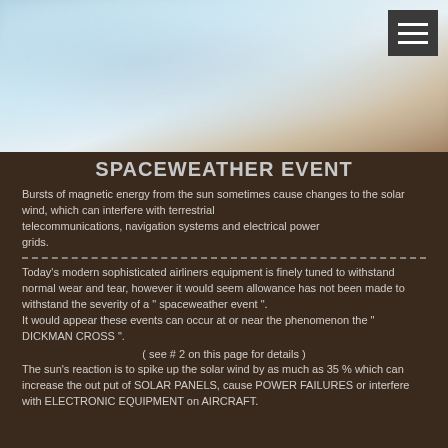[Figure (photo): Hero image showing a blurred atmospheric or solar image with light blue and warm tan tones, with a dark hamburger menu icon in the top right corner.]
SPACEWEATHER EVENT
Bursts of magnetic energy from the sun sometimes cause changes to the solar wind, which can interfere with terrestrial telecommunications, navigation systems and electrical power grids.
Today's modern sophisticated airliners equipment is finely tuned to withstand normal wear and tear, however it would seem allowance has not been made to withstand the severity of a " spaceweather event ". It would appear these events can occur at or near the phenomenon the " DICKMAN CROSS ".
( see # 2 on this page for details )
The sun's reaction is to spike up the solar wind by as much as 35 % which can increase the out put of SOLAR PANELS, cause POWER FAILURES or interfere with ELECTRONIC EQUIPMENT on AIRCRAFT.